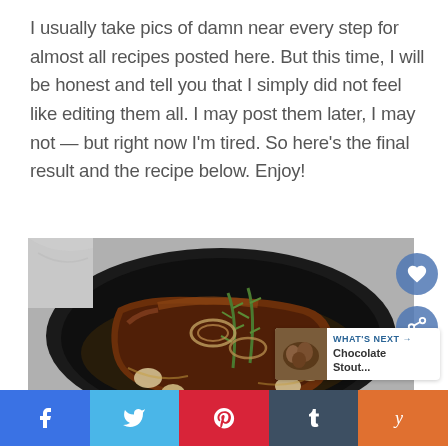I usually take pics of damn near every step for almost all recipes posted here. But this time, I will be honest and tell you that I simply did not feel like editing them all. I may post them later, I may not — but right now I'm tired. So here's the final result and the recipe below. Enjoy!
[Figure (photo): A seared steak in a dark cast iron pan with herbs, garlic, and onions, viewed from above on a marble surface.]
[Figure (other): Social media share buttons: Facebook (blue), Twitter (light blue), Pinterest (red), Tumblr (dark blue), and one more (orange). Also a 'What's Next - Chocolate Stout...' card.]